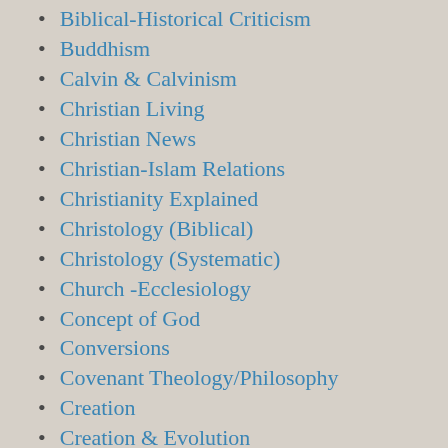Biblical-Historical Criticism
Buddhism
Calvin & Calvinism
Christian Living
Christian News
Christian-Islam Relations
Christianity Explained
Christology (Biblical)
Christology (Systematic)
Church -Ecclesiology
Concept of God
Conversions
Covenant Theology/Philosophy
Creation
Creation & Evolution
Creeds